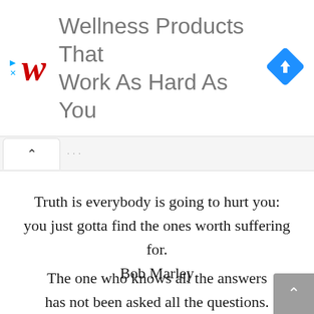[Figure (screenshot): Walgreens advertisement banner: red cursive W logo, gray text 'Wellness Products That Work As Hard As You', blue diamond navigation icon on right. Play and X icons on left.]
Truth is everybody is going to hurt you: you just gotta find the ones worth suffering for.
Bob Marley
The one who knows all the answers has not been asked all the questions.